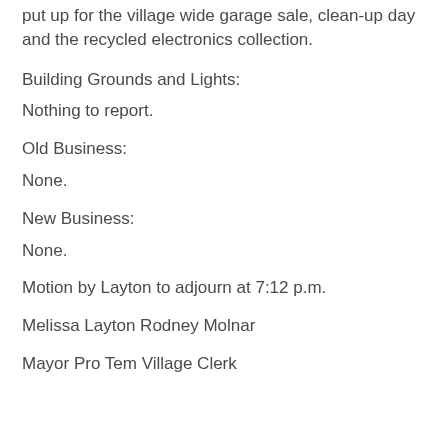put up for the village wide garage sale, clean-up day and the recycled electronics collection.
Building Grounds and Lights:
Nothing to report.
Old Business:
None.
New Business:
None.
Motion by Layton to adjourn at 7:12 p.m.
Melissa Layton Rodney Molnar
Mayor Pro Tem Village Clerk